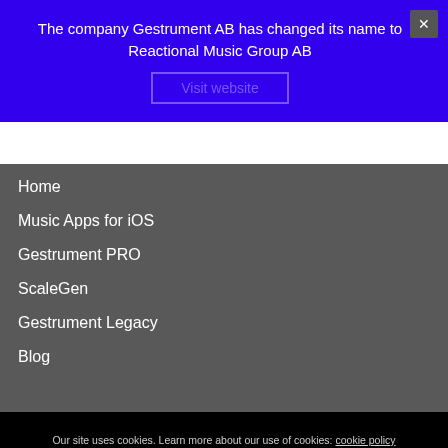The company Gestrument AB has changed its name to Reactional Music Group AB
Visit website
Home
Music Apps for iOS
Gestrument PRO
ScaleGen
Gestrument Legacy
Blog
Our site uses cookies. Learn more about our use of cookies: cookie policy
I accept